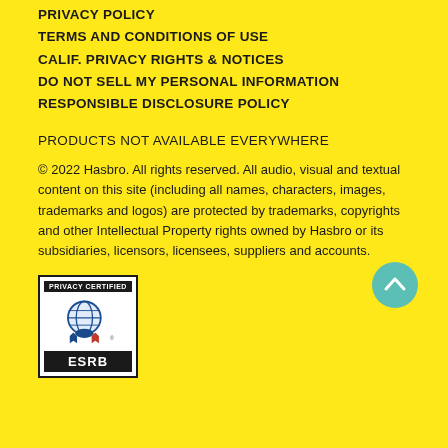PRIVACY POLICY
TERMS AND CONDITIONS OF USE
CALIF. PRIVACY RIGHTS & NOTICES
DO NOT SELL MY PERSONAL INFORMATION
RESPONSIBLE DISCLOSURE POLICY
PRODUCTS NOT AVAILABLE EVERYWHERE
© 2022 Hasbro. All rights reserved. All audio, visual and textual content on this site (including all names, characters, images, trademarks and logos) are protected by trademarks, copyrights and other Intellectual Property rights owned by Hasbro or its subsidiaries, licensors, licensees, suppliers and accounts.
[Figure (logo): ESRB Privacy Certified badge with globe and ribbon icon]